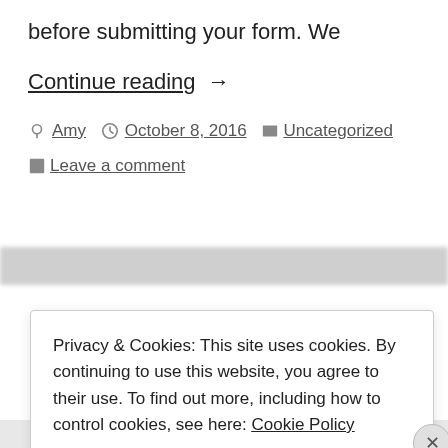before submitting your form. We
Continue reading →
Amy  October 8, 2016  Uncategorized  Leave a comment
Privacy & Cookies: This site uses cookies. By continuing to use this website, you agree to their use. To find out more, including how to control cookies, see here: Cookie Policy
Close and accept